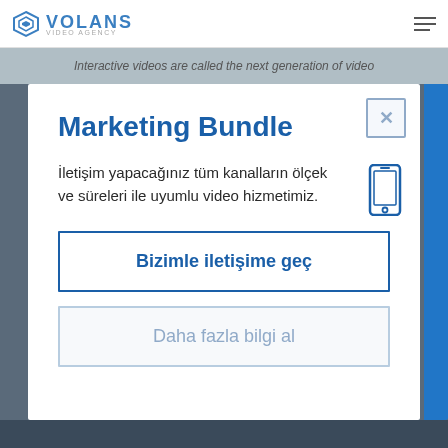VOLANS VIDEO AGENCY
Interactive videos are called the next generation of video
Marketing Bundle
İletişim yapacağınız tüm kanalların ölçek ve süreleri ile uyumlu video hizmetimiz.
Bizimle iletişime geç
Daha fazla bilgi al